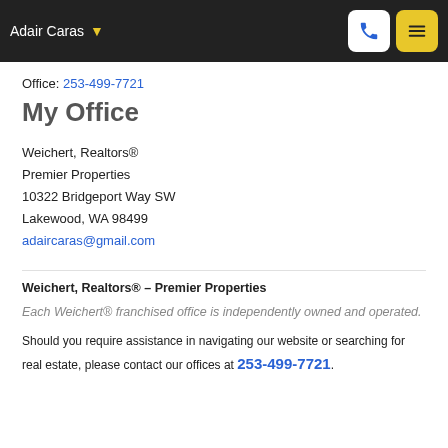Adair Caras
Office: 253-499-7721
My Office
Weichert, Realtors®
Premier Properties
10322 Bridgeport Way SW
Lakewood, WA 98499
adaircaras@gmail.com
Weichert, Realtors® - Premier Properties
Each Weichert® franchised office is independently owned and operated.
Should you require assistance in navigating our website or searching for real estate, please contact our offices at 253-499-7721.